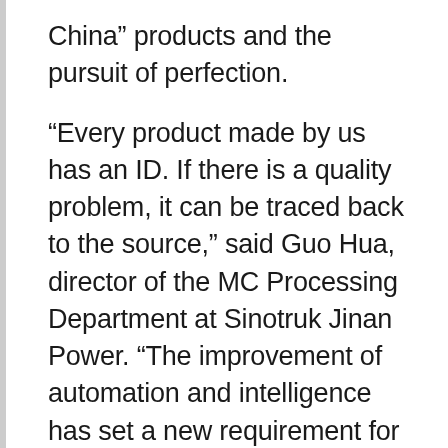China” products and the pursuit of perfection.
“Every product made by us has an ID. If there is a quality problem, it can be traced back to the source,” said Guo Hua, director of the MC Processing Department at Sinotruk Jinan Power. “The improvement of automation and intelligence has set a new requirement for the craftsmanship spirit. A production line that used to have 120 to 150 workers only needs 11 now, and output is tripled.”